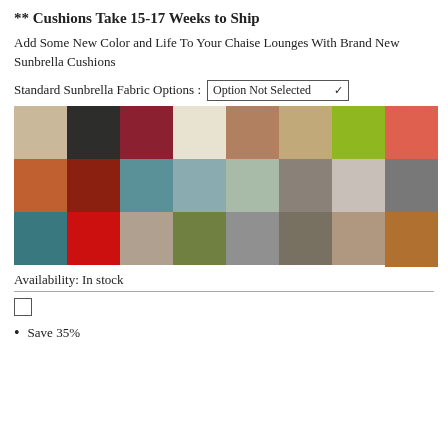** Cushions Take 15-17 Weeks to Ship
Add Some New Color and Life To Your Chaise Lounges With Brand New Sunbrella Cushions
Standard Sunbrella Fabric Options : Option Not Selected
[Figure (other): Grid of 25 fabric color swatches in various colors: beige, dark charcoal, dark red/burgundy, cream, tan/brown, light tan, lime green, coral/salmon, burnt orange, dark red, teal/blue-green, light blue-gray, light sage, taupe/gray, light gray/beige, gray, dark teal, bright red, light taupe, olive green, medium gray, dark taupe, light taupe/brown, medium brown/orange]
Availability: In stock
Save 35%